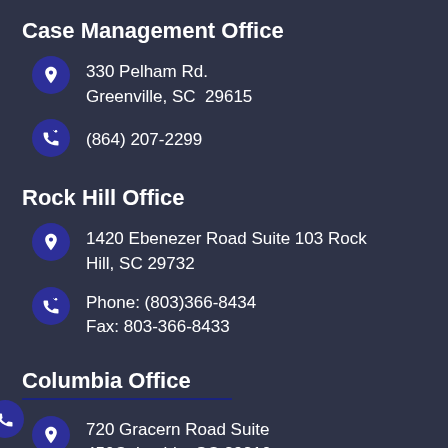Case Management Office
330 Pelham Rd. Greenville, SC  29615
(864) 207-2299
Rock Hill Office
1420 Ebenezer Road Suite 103 Rock Hill, SC 29732
Phone: (803)366-8434
Fax: 803-366-8433
Columbia Office
720 Gracern Road Suite 450Columbia, SC 29210
Phone: (803) 929-1112 (24 hours a